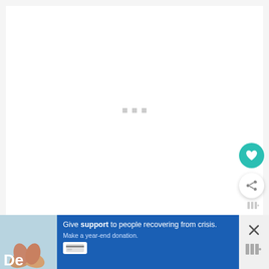[Figure (screenshot): White content area with three small gray loading indicator squares in the center, on a light gray background]
[Figure (infographic): Teal/green circular heart favorite button and white circular share button with plus icon on the right side]
[Figure (screenshot): Advertisement banner at the bottom: dark background with image of two hands holding on left, blue panel with text 'Give support to people recovering from crisis. Make a year-end donation.' with credit card icon, and close X button on right side with vertical bar indicators]